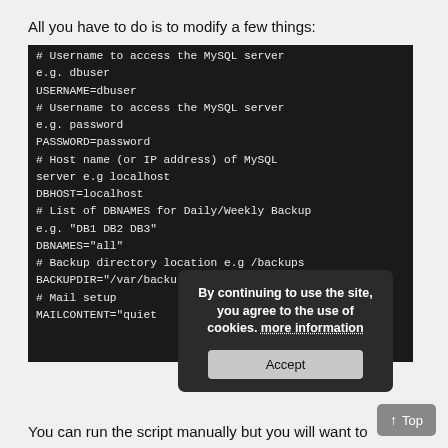All you have to do is to modify a few things:
# Username to access the MySQL server
e.g. dbuser
USERNAME=dbuser
# Username to access the MySQL server
e.g. password
PASSWORD=password
# Host name (or IP address) of MySQL server e.g localhost
DBHOST=localhost
# List of DBNAMES for Daily/Weekly Backup
e.g. "DB1 DB2 DB3"
DBNAMES="all"
# Backup directory location e.g /backups
BACKUPDIR="/var/backup/mysql"
# Mail setup
MAILCONTENT="quiet
[Figure (screenshot): Cookie consent popup with text 'By continuing to use the site, you agree to the use of cookies. more information' and an Accept button]
You can run the script manually but you will want to